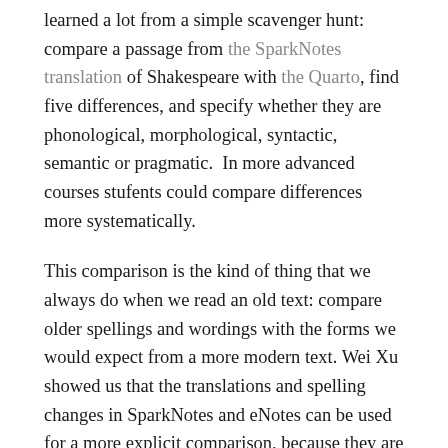learned a lot from a simple scavenger hunt: compare a passage from the SparkNotes translation of Shakespeare with the Quarto, find five differences, and specify whether they are phonological, morphological, syntactic, semantic or pragmatic.  In more advanced courses stufents could compare differences more systematically.
This comparison is the kind of thing that we always do when we read an old text: compare older spellings and wordings with the forms we would expect from a more modern text. Wei Xu showed us that the translations and spelling changes in SparkNotes and eNotes can be used for a more explicit comparison, because they are written down based on the translators' and editors' understanding of what modern students will find difficult to read.